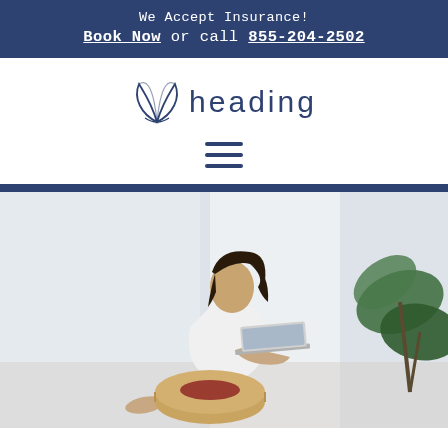We Accept Insurance! Book Now or call 855-204-2502
[Figure (logo): Heading Health logo with stylized leaf/wing mark and text 'heading']
[Figure (other): Hamburger menu icon (three horizontal lines)]
[Figure (photo): Woman sitting on a wicker pouf, working on a laptop in a bright room with a plant nearby]